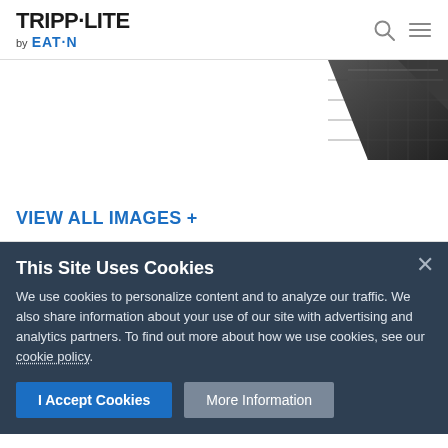TRIPP·LITE by EATON
[Figure (photo): Partial product image showing a dark-colored rack mount or similar hardware device, visible in the upper-right corner of the product area]
VIEW ALL IMAGES +
This Site Uses Cookies
We use cookies to personalize content and to analyze our traffic. We also share information about your use of our site with advertising and analytics partners. To find out more about how we use cookies, see our cookie policy.
I Accept Cookies   More Information